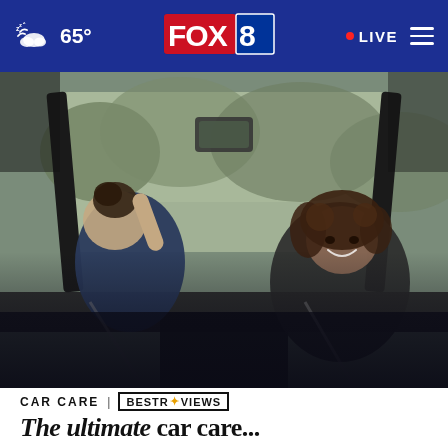65° FOX 8 LIVE
[Figure (photo): Interior view of a convertible car from back seat perspective, showing two passengers — a person on the left facing away and a smiling woman with curly hair on the right — driving on a tree-lined road.]
CAR CARE | BESTREVIEWS
The ultimate car care...